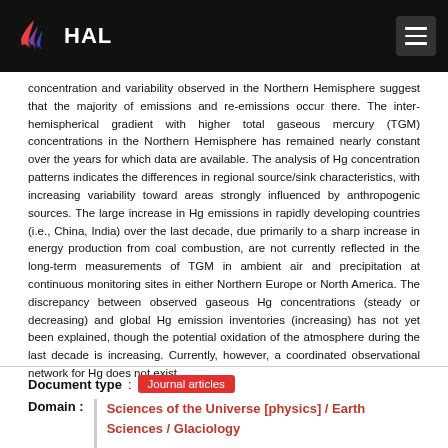HAL
concentration and variability observed in the Northern Hemisphere suggest that the majority of emissions and re-emissions occur there. The inter-hemispherical gradient with higher total gaseous mercury (TGM) concentrations in the Northern Hemisphere has remained nearly constant over the years for which data are available. The analysis of Hg concentration patterns indicates the differences in regional source/sink characteristics, with increasing variability toward areas strongly influenced by anthropogenic sources. The large increase in Hg emissions in rapidly developing countries (i.e., China, India) over the last decade, due primarily to a sharp increase in energy production from coal combustion, are not currently reflected in the long-term measurements of TGM in ambient air and precipitation at continuous monitoring sites in either Northern Europe or North America. The discrepancy between observed gaseous Hg concentrations (steady or decreasing) and global Hg emission inventories (increasing) has not yet been explained, though the potential oxidation of the atmosphere during the last decade is increasing. Currently, however, a coordinated observational network for Hg does not exist.
Document type : Journal articles
Domain : Sciences of the Universe [physics] / Earth Sciences / Glaciology